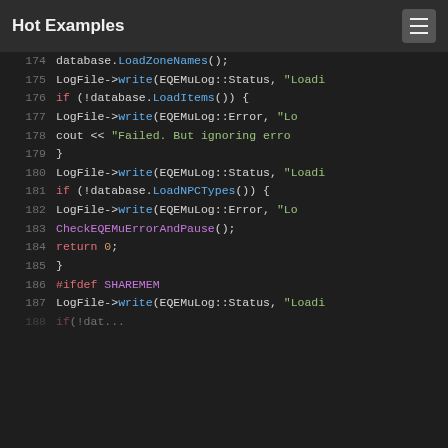Hot Examples
[Figure (screenshot): Code viewer showing C++ source lines 174-187+, with syntax highlighting on a dark background. Lines include database.LoadZoneNames(), LogFile->write, if (!database.LoadItems()), LogFile->write error, cout << Failed message, closing brace, LogFile->write Status, if (!database.LoadNPCTypes()), LogFile->write Error, CheckEQEMuErrorAndPause(), return 0, closing brace, #ifdef SHAREMEM, LogFile->write Status, and a partially visible line 188.]